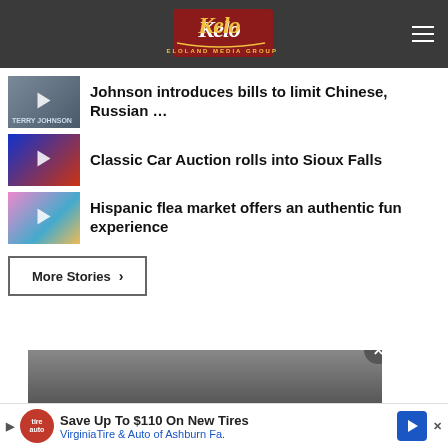KELOLAND Media Group
Johnson introduces bills to limit Chinese, Russian …
Classic Car Auction rolls into Sioux Falls
Hispanic flea market offers an authentic fun experience
More Stories ›
Save Up To $110 On New Tires VirginiaTire & Auto of Ashburn Fa.